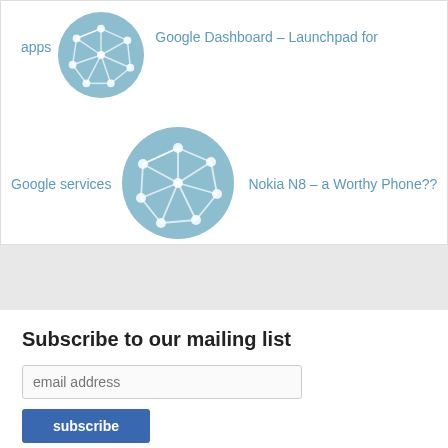[Figure (illustration): Network graph icon in a teal circle — related post thumbnail for apps / Google Dashboard – Launchpad for]
apps
Google Dashboard – Launchpad for
[Figure (illustration): Network graph icon in a teal circle — related post thumbnail for Google services / Nokia N8 – a Worthy Phone??]
Google services
Nokia N8 – a Worthy Phone??
Subscribe to our mailing list
email address